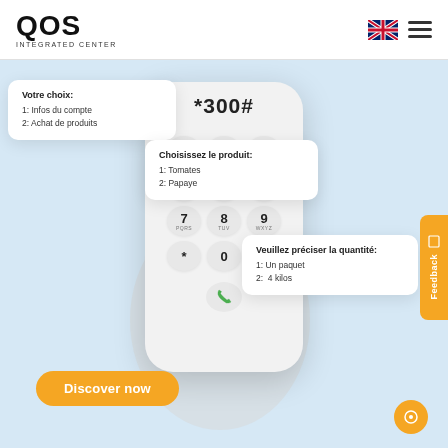QOS INTEGRATED CENTER
[Figure (screenshot): USSD phone mockup held in a white-gloved hand showing *300# code and keypad, with popup menu cards and a feedback tab]
Votre choix:
1: Infos du compte
2: Achat de produits
*300#
Choisissez le produit:
1: Tomates
2: Papaye
Veuillez préciser la quantité:
1: Un paquet
2:  4 kilos
Feedback
Discover now